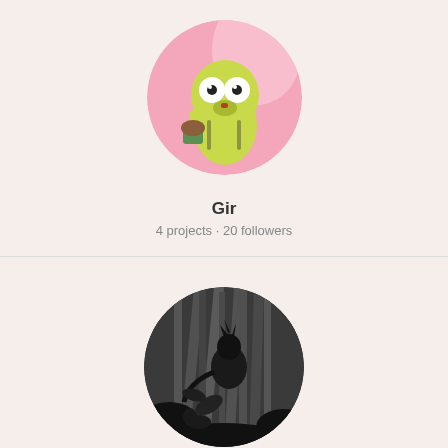[Figure (illustration): Circular avatar image of animated character GIR from Invader Zim, holding a cupcake, with pink and pastel background]
Gir
4 projects · 20 followers
[Figure (illustration): Circular avatar image showing a dark silhouette figure in a black and white forest scene]
Arillion
3 projects · 7 followers